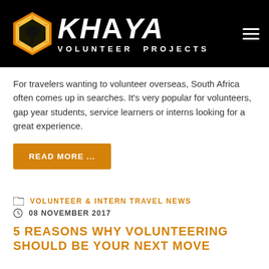KHAYA VOLUNTEER PROJECTS
For travelers wanting to volunteer overseas, South Africa often comes up in searches. It's very popular for volunteers, gap year students, service learners or interns looking for a great experience.
READ MORE ...
VOLUNTEER & INTERN TRAVEL NEWS
08 NOVEMBER 2017
5 REASONS WHY VOLUNTEERING SHOULD BE YOUR NEXT MOVE